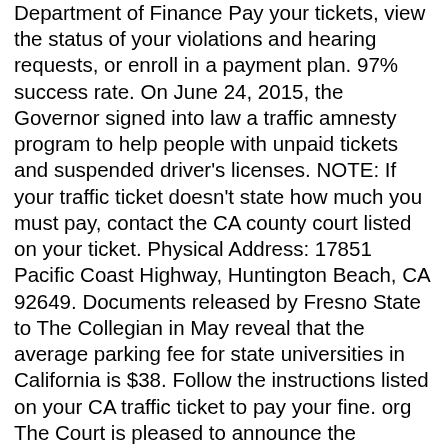Department of Finance Pay your tickets, view the status of your violations and hearing requests, or enroll in a payment plan. 97% success rate. On June 24, 2015, the Governor signed into law a traffic amnesty program to help people with unpaid tickets and suspended driver's licenses. NOTE: If your traffic ticket doesn't state how much you must pay, contact the CA county court listed on your ticket. Physical Address: 17851 Pacific Coast Highway, Huntington Beach, CA 92649. Documents released by Fresno State to The Collegian in May reveal that the average parking fee for state universities in California is $38. Follow the instructions listed on your CA traffic ticket to pay your fine. org The Court is pleased to announce the following Traffic clerk's offices are open Monday through Friday between the hours of 8:00 a. 1, people with unpaid traffic tickets may be eligible to have the amount of money they owe reduced. 7-5-116: Obligation Of Processing Agency Once Parking Penalty Paid. Oct 12, 2021 · Bolsa Chica State Beach is located in Huntington Beach, California and extends three miles from Warner Avenue to Seapoint Avenue along Pacific Coast Highway. Depending on which California county you received your traffic ticket in, you may be able to pay it: Online. Nov 13, 2020 · That's Not a Legal Parking Spot (Or Unit) November 13, 2020. If your California driver's license is suspended due to unpaid traffic tickets, you can call the Court to set a future